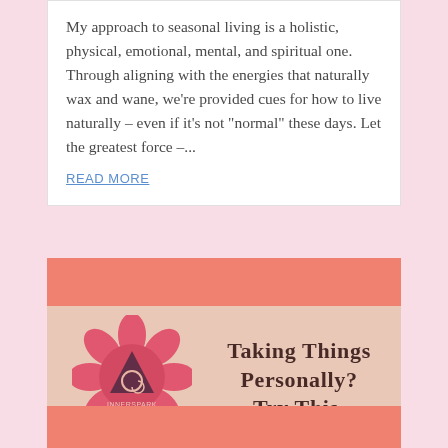My approach to seasonal living is a holistic, physical, emotional, mental, and spiritual one. Through aligning with the energies that naturally wax and wane, we're provided cues for how to live naturally – even if it's not "normal" these days. Let the greatest force –...
READ MORE
[Figure (illustration): InnerSpark logo and promotional banner with salmon/peach background. Logo shows a pink lotus flower with a triangle and spiral inside, labeled 'InnerSpark'. Text reads 'Taking Things Personally? Try This.']